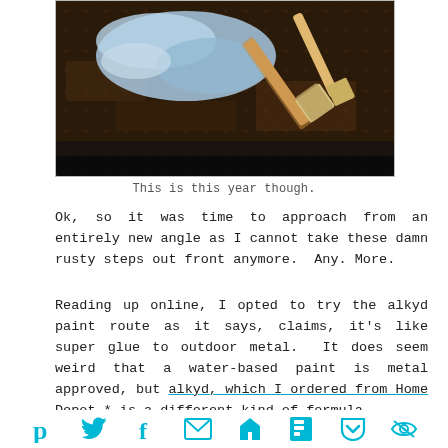[Figure (photo): Close-up photo of a dark rusty metal surface with blue-grey paint brushed on and a paint brush resting on top]
This is this year though.
Ok, so it was time to approach from an entirely new angle as I cannot take these damn rusty steps out front anymore.  Any. More.
Reading up online, I opted to try the alkyd paint route as it says, claims, it's like super glue to outdoor metal.  It does seem weird that a water-based paint is metal approved, but alkyd, which I ordered from Home Depot,* is a different kind of formula.
Alkyd is...
[Figure (infographic): Social sharing icon bar with Pinterest, Twitter, Facebook, Email, unknown, Flipboard, Pocket, and another icon in cyan/teal color]